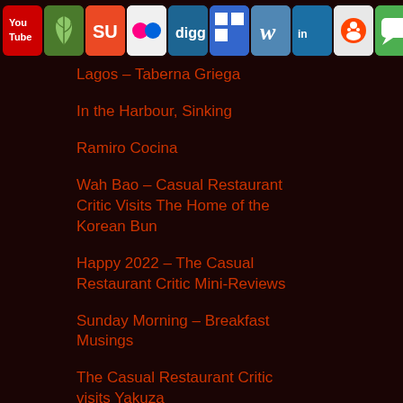Social media icon bar: YouTube, NetworkedBlogs, StumbleUpon, Flickr, Digg, Delicious, WordPress, LinkedIn, Reddit, iMessage, Facebook, Twitter, RSS
Lagos – Taberna Griega
In the Harbour, Sinking
Ramiro Cocina
Wah Bao – Casual Restaurant Critic Visits The Home of the Korean Bun
Happy 2022 – The Casual Restaurant Critic Mini-Reviews
Sunday Morning – Breakfast Musings
The Casual Restaurant Critic visits Yakuza
Teya Viva – Hacienda Teya in Merida